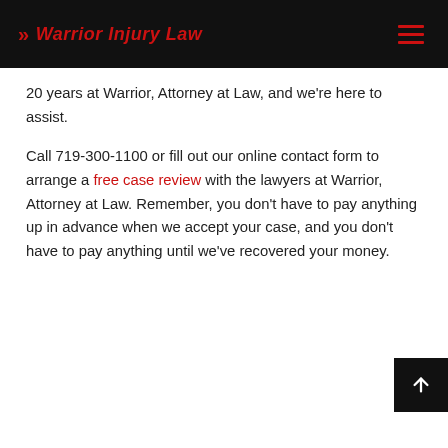Warrior Injury Law
20 years at Warrior, Attorney at Law, and we're here to assist.
Call 719-300-1100 or fill out our online contact form to arrange a free case review with the lawyers at Warrior, Attorney at Law. Remember, you don't have to pay anything up in advance when we accept your case, and you don't have to pay anything until we've recovered your money.